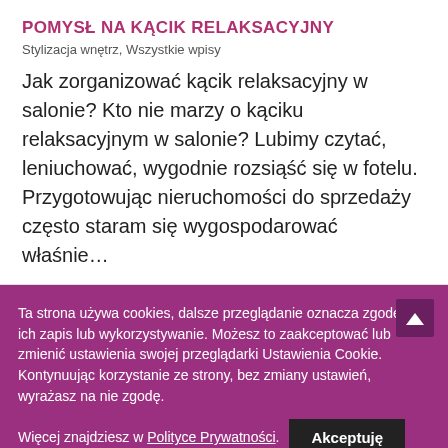POMYSŁ NA KĄCIK RELAKSACYJNY
Stylizacja wnętrz, Wszystkie wpisy
Jak zorganizować kącik relaksacyjny w salonie? Kto nie marzy o kąciku relaksacyjnym w salonie? Lubimy czytać, leniuchować, wygodnie rozsiąść się w fotelu. Przygotowując nieruchomości do sprzedaży często staram się wygospodarować właśnie…
Ta strona używa cookies, dalsze przeglądanie oznacza zgodę na ich zapis lub wykorzystywanie. Możesz to zaakceptować lub zmienić ustawienia swojej przeglądarki Ustawienia Cookie. Kontynuując korzystanie ze strony, bez zmiany ustawień, wyrażasz na nie zgodę.
Więcej znajdziesz w Polityce Prywatności. Akceptuję